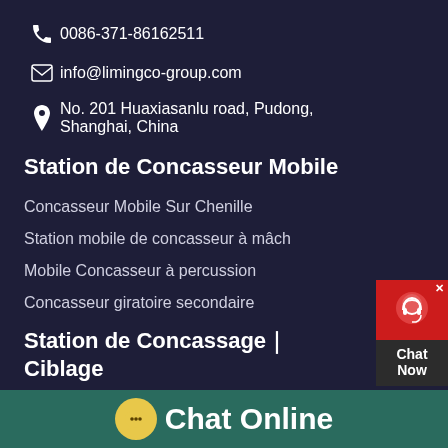0086-371-86162511
info@limingco-group.com
No. 201 Huaxiasanlu road, Pudong, Shanghai, China
Station de Concasseur Mobile
Concasseur Mobile Sur Chenille
Station mobile de concasseur à mâch
Mobile Concasseur à percussion
Concasseur giratoire secondaire
Station de Concassage｜Ciblage
[Figure (other): Chat Now widget with red background and customer service icon]
Chat Online